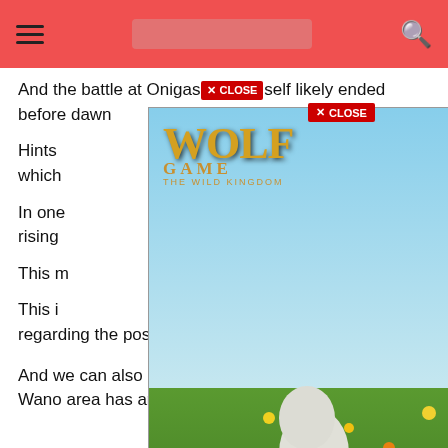navigation bar with hamburger menu, search bar, and search icon
And the battle at Onigashima itself likely ended before dawn
Hints [partially obscured by ad], which [partially obscured]
In one [partially obscured] rising [partially obscured]
This m[partially obscured]
This i[partially obscured]ction regarding the possibility of a Wano era revival one day.
[Figure (illustration): Wolf Game: The Wild Kingdom advertisement showing three wolves standing in a meadow with yellow flowers, with the text 'THE HUNT IS ON!' at the bottom. Features a close button and ad control icons.]
And we can also interpret the sun that dawn in the Wano area has arrived.